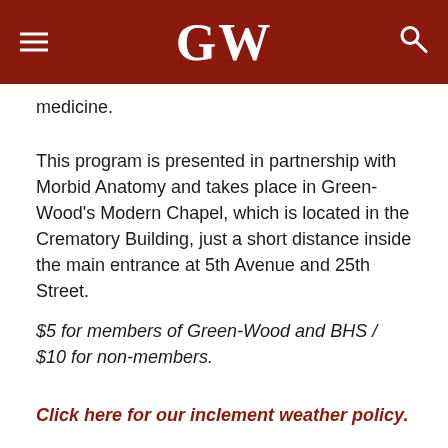GW
medicine.
This program is presented in partnership with Morbid Anatomy and takes place in Green-Wood's Modern Chapel, which is located in the Crematory Building, just a short distance inside the main entrance at 5th Avenue and 25th Street.
$5 for members of Green-Wood and BHS / $10 for non-members.
Click here for our inclement weather policy.